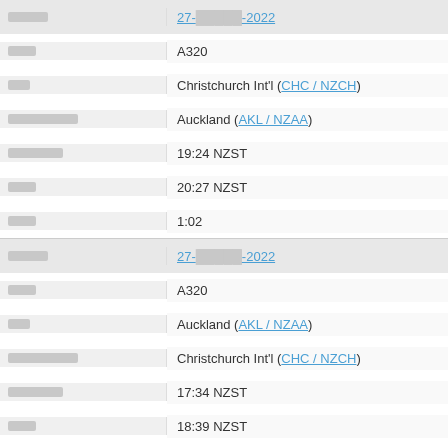| [label] | 27-[redacted]-2022 |
| [label] | A320 |
| [label] | Christchurch Int'l (CHC / NZCH) |
| [label] | Auckland (AKL / NZAA) |
| [label] | 19:24 NZST |
| [label] | 20:27 NZST |
| [label] | 1:02 |
| [label] | 27-[redacted]-2022 |
| [label] | A320 |
| [label] | Auckland (AKL / NZAA) |
| [label] | Christchurch Int'l (CHC / NZCH) |
| [label] | 17:34 NZST |
| [label] | 18:39 NZST |
| [label] | 1:04 |
| [label] | 27-[redacted]-2022 |
| [label] | A320 |
| [label] | Wellington Int'l (WLG / NZWN) |
| [label] | Auckland (AKL / NZAA) |
| [label] | 15:00 NZST |
| [label] | 15:46 NZST |